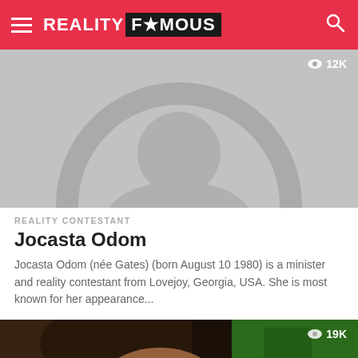REALITY F★MOUS
[Figure (photo): Default avatar placeholder image with grey background and generic user silhouette (head circle and shoulders arc). View count badge showing eye icon and '12K' in top right corner.]
REALITY CONTESTANT
Jocasta Odom
Jocasta Odom (née Gates) (born August 10 1980) is a minister and reality contestant from Lovejoy, Georgia, USA. She is most known for her appearance...
[Figure (photo): Partial photo of a person with dark hair, with green element visible. View count badge showing eye icon and '19K' in top right corner.]